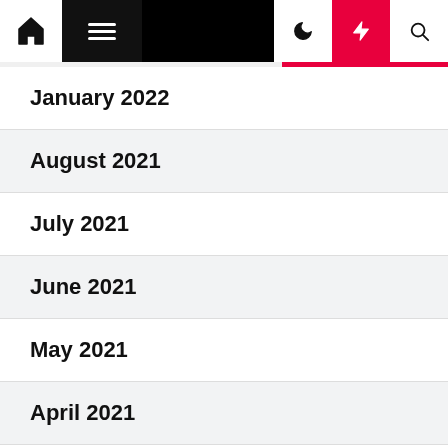Navigation bar with home, menu, moon, bolt, search icons
January 2022
August 2021
July 2021
June 2021
May 2021
April 2021
March 2021
February 2021
January 2021